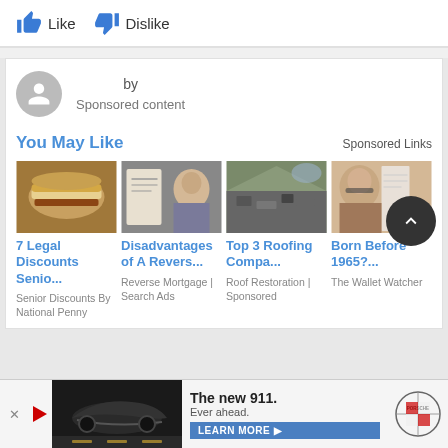[Figure (screenshot): Like and Dislike buttons with thumbs up and thumbs down icons in blue]
by
Sponsored content
You May Like
Sponsored Links
[Figure (photo): Food image - burger wrapped in foil]
7 Legal Discounts Senio...
Senior Discounts By National Penny
[Figure (photo): Person holding paper - elderly woman]
Disadvantages of A Revers...
Reverse Mortgage | Search Ads
[Figure (photo): Damaged roof with broken tiles]
Top 3 Roofing Compa...
Roof Restoration | Sponsored
[Figure (photo): Woman with glasses next to a notebook]
Born Before 1965?...
The Wallet Watcher
[Figure (screenshot): Bottom advertisement for Porsche 911 - The new 911. Ever ahead. Learn More button and Porsche logo]